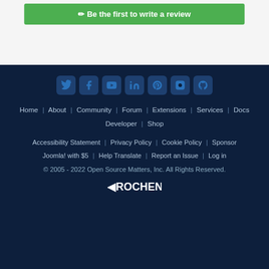✏ Be the first to write a review
[Figure (other): Social media icons row: Twitter, Facebook, YouTube, LinkedIn, Pinterest, Instagram, GitHub]
Home | About | Community | Forum | Extensions | Services | Docs | Developer | Shop
Accessibility Statement | Privacy Policy | Cookie Policy | Sponsor Joomla! with $5 | Help Translate | Report an Issue | Log in
© 2005 - 2022 Open Source Matters, Inc. All Rights Reserved.
[Figure (logo): Rochen logo]